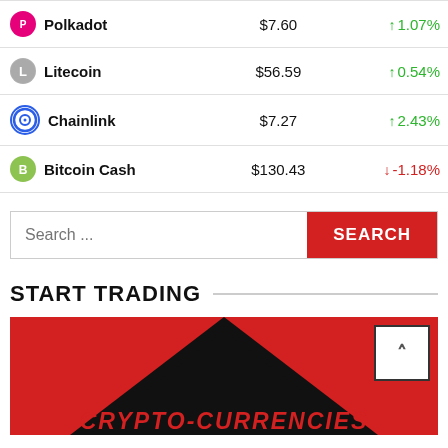| Coin | Price | Change |
| --- | --- | --- |
| Polkadot | $7.60 | ↑ 1.07% |
| Litecoin | $56.59 | ↑ 0.54% |
| Chainlink | $7.27 | ↑ 2.43% |
| Bitcoin Cash | $130.43 | ↓ -1.18% |
Search ...
START TRADING
[Figure (illustration): Red banner with black triangle/chevron shape and red bold italic text reading CRYPTO-CURRENCIES at the bottom, with a back-to-top arrow button in upper right corner]